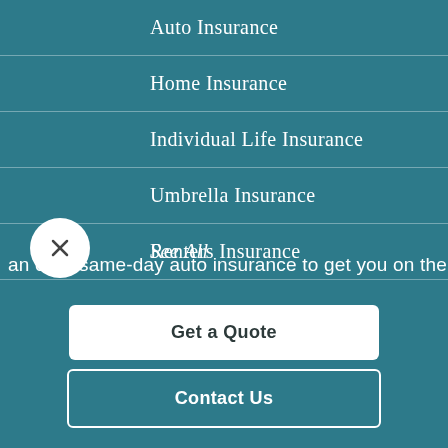Auto Insurance
Home Insurance
Individual Life Insurance
Umbrella Insurance
Renters Insurance
Medicare Products
See All
an offer same-day auto insurance to get you on the roa
Get a Quote
Contact Us